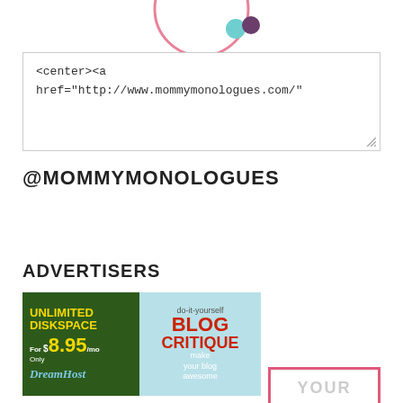[Figure (logo): Partial circular logo with pink arc and colored dots (teal and purple) visible at top of page]
<center><a href="http://www.mommymonologues.com/"
@MOMMYMONOLOGUES
ADVERTISERS
[Figure (photo): Advertisement banner: left half shows DreamHost ad (green background, yellow text) 'UNLIMITED DISKSPACE For Only $8.95/mo DreamHost'; right half shows 'do-it-yourself BLOG CRITIQUE make your blog awesome' on light blue background]
[Figure (illustration): Partial view of another advertisement with pink border showing 'YOUR' text, partially cut off at bottom right]